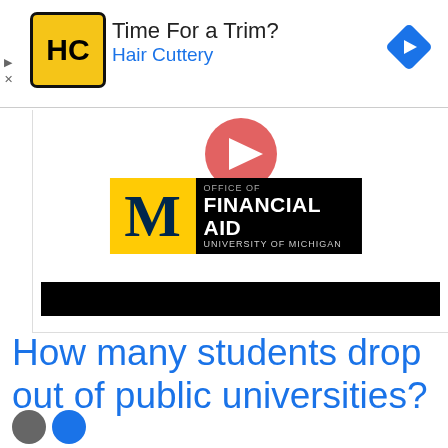[Figure (screenshot): Advertisement banner for Hair Cuttery. Shows Hair Cuttery logo (HC in yellow square), text 'Time For a Trim?' and 'Hair Cuttery' in blue, and a blue diamond navigation arrow icon on the right.]
[Figure (screenshot): Video player thumbnail showing University of Michigan Office of Financial Aid logo on a YouTube-style video embed. Red circular play button overlay. Below the video area is a black bar.]
How many students drop out of public universities?